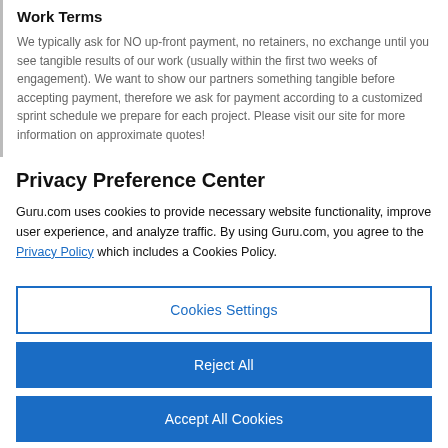Work Terms
We typically ask for NO up-front payment, no retainers, no exchange until you see tangible results of our work (usually within the first two weeks of engagement). We want to show our partners something tangible before accepting payment, therefore we ask for payment according to a customized sprint schedule we prepare for each project. Please visit our site for more information on approximate quotes!
Privacy Preference Center
Guru.com uses cookies to provide necessary website functionality, improve user experience, and analyze traffic. By using Guru.com, you agree to the Privacy Policy which includes a Cookies Policy.
Cookies Settings
Reject All
Accept All Cookies